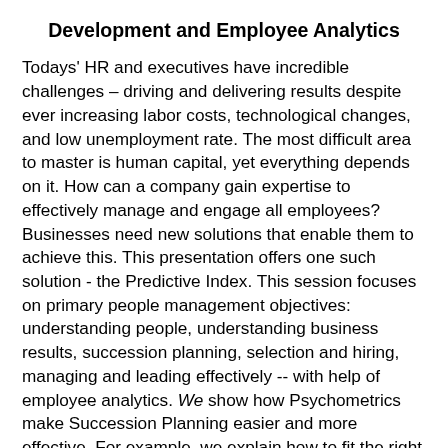Development and Employee Analytics
Todays' HR and executives have incredible challenges – driving and delivering results despite ever increasing labor costs, technological changes, and low unemployment rate. The most difficult area to master is human capital, yet everything depends on it. How can a company gain expertise to effectively manage and engage all employees? Businesses need new solutions that enable them to achieve this. This presentation offers one such solution - the Predictive Index. This session focuses on primary people management objectives: understanding people, understanding business results, succession planning, selection and hiring, managing and leading effectively -- with help of employee analytics. We show how Psychometrics make Succession Planning easier and more effective. For example, we explain how to fit the right people in the right functions across the organization based on the historical and future needs, speed up hiring, evaluate the cost of turnover, and use PI to avoid cultural clashes in multifunctional